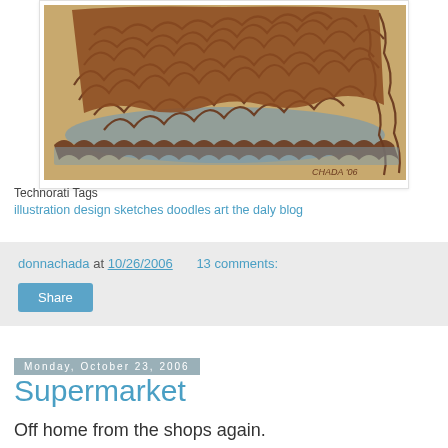[Figure (illustration): Hand-drawn illustration on tan/beige background showing curly hair and decorative border patterns in brown with blue-grey shadow elements. Signed 'CHADA 06' in lower right.]
Technorati Tags
illustration design sketches doodles art the daly blog
donnachada at 10/26/2006   13 comments:
Share
Monday, October 23, 2006
Supermarket
Off home from the shops again.